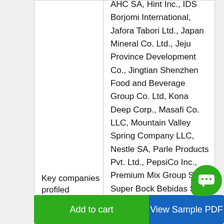| Key companies profiled |  |
| --- | --- |
| Key companies profiled | AHC SA, Hint Inc., IDS Borjomi International, Jafora Tabori Ltd., Japan Mineral Co. Ltd., Jeju Province Development Co., Jingtian Shenzhen Food and Beverage Group Co. Ltd, Kona Deep Corp., Masafi Co. LLC, Mountain Valley Spring Company LLC, Nestle SA, Parle Products Pvt. Ltd., PepsiCo Inc., Premium Mix Group SL, Super Bock Bebidas SA, Talking Rain Beverage |
Add to cart
View Sample PDF